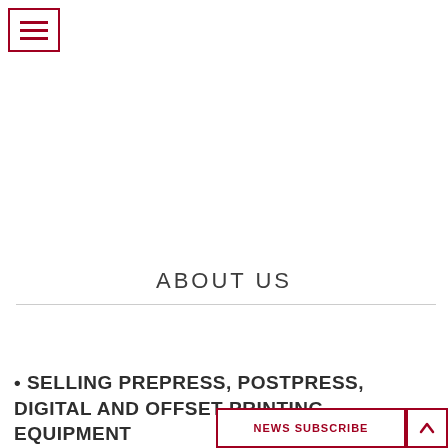[Figure (other): Hamburger menu icon — three horizontal red lines inside a red border rectangle, top-left corner]
ABOUT US
• SELLING PREPRESS, POSTPRESS, DIGITAL AND OFFSET PRINTING EQUIPMENT